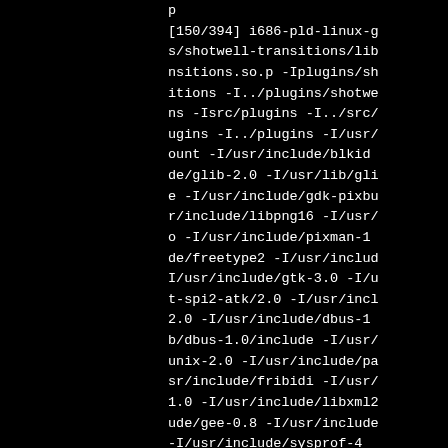p
[150/394] i686-pld-linux-g
s/shotwell-transitions/lib
nsitions.so.p -Iplugins/sh
itions -I../plugins/shotwe
ns -Isrc/plugins -I../src/
ugins -I../plugins -I/usr/
ount -I/usr/include/blkid
de/glib-2.0 -I/usr/lib/gli
e -I/usr/include/gdk-pixbu
r/include/libpng16 -I/usr/
o -I/usr/include/pixman-1
de/freetype2 -I/usr/includ
I/usr/include/gtk-3.0 -I/u
t-spi2-atk/2.0 -I/usr/incl
2.0 -I/usr/include/dbus-1
b/dbus-1.0/include -I/usr/
unix-2.0 -I/usr/include/pa
sr/include/fribidi -I/usr/
1.0 -I/usr/include/libxml2
ude/gee-0.8 -I/usr/include
-I/usr/include/sysprof-4
e/webkitgtk-4.0 -fdiagnos
ways -D_FILE_OFFSET_BIT